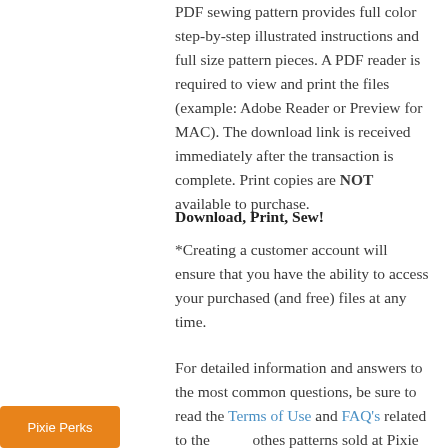PDF sewing pattern provides full color step-by-step illustrated instructions and full size pattern pieces. A PDF reader is required to view and print the files (example: Adobe Reader or Preview for MAC). The download link is received immediately after the transaction is complete. Print copies are NOT available to purchase.
Download, Print, Sew!
*Creating a customer account will ensure that you have the ability to access your purchased (and free) files at any time.
For detailed information and answers to the most common questions, be sure to read the Terms of Use and FAQ's related to the clothes patterns sold at Pixie Faire.
[Figure (other): Orange button labeled 'Pixie Perks' in the bottom-left corner]